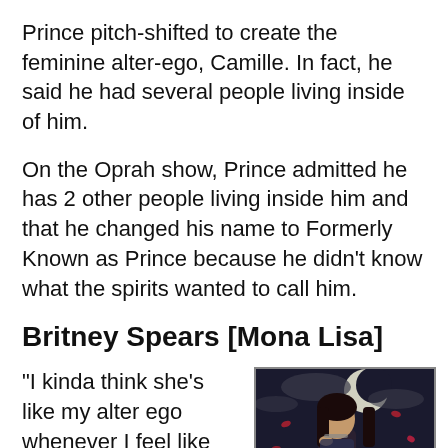Prince pitch-shifted to create the feminine alter-ego, Camille. In fact, he said he had several people living inside of him.
On the Oprah show, Prince admitted he has 2 other people living inside him and that he changed his name to Formerly Known as Prince because he didn't know what the spirits wanted to call him.
Britney Spears [Mona Lisa]
“I kinda think she’s like my alter ego whenever I feel like being mean or
[Figure (photo): Dark fantasy photo of a woman with dark hair against a moonlit sky with rose petals]